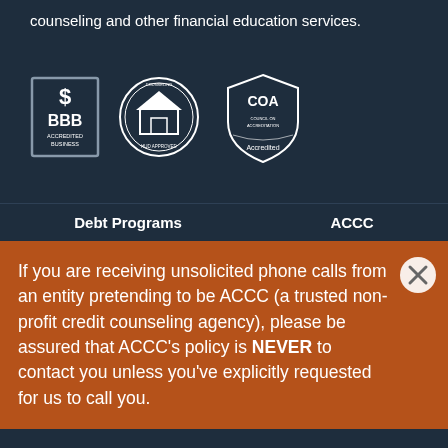counseling and other financial education services.
[Figure (logo): Three accreditation logos: BBB Accredited Business, HUD Approved Housing Counseling Agency (circular seal), and COA Accredited (shield logo)]
Debt Programs    ACCC
If you are receiving unsolicited phone calls from an entity pretending to be ACCC (a trusted non-profit credit counseling agency), please be assured that ACCC's policy is NEVER to contact you unless you've explicitly requested for us to call you.